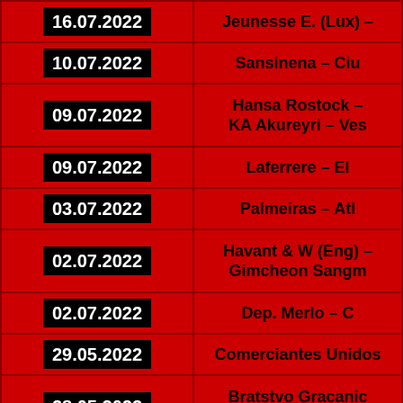| Date | Match |
| --- | --- |
| 16.07.2022 | Jeunesse E. (Lux) – |
| 10.07.2022 | Sansinena – Ciu |
| 09.07.2022 | Hansa Rostock –
KA Akureyri – Ves |
| 09.07.2022 | Laferrere – El |
| 03.07.2022 | Palmeiras – Atl |
| 02.07.2022 | Havant & W (Eng) –
Gimcheon Sangm |
| 02.07.2022 | Dep. Merlo – C |
| 29.05.2022 | Comerciantes Unidos |
| 28.05.2022 | Bratstvo Gracanic
Noravank – |
| 28.05.2022 | Villa San Carlos – Arg |
| 22.05.2022 | Mezzolara – |
| 21.05.2022 | Heracles – E
Rubin Kaza |